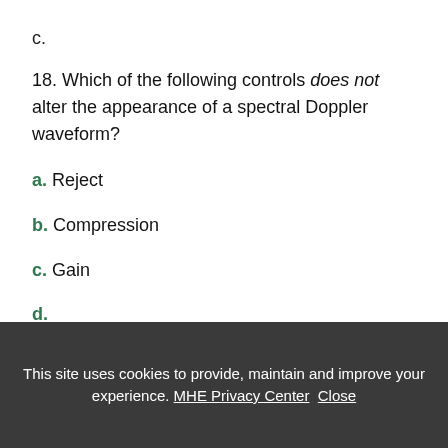c.
18. Which of the following controls does not alter the appearance of a spectral Doppler waveform?
a. Reject
b. Compression
c. Gain
d. (partially visible)
This site uses cookies to provide, maintain and improve your experience. MHE Privacy Center Close